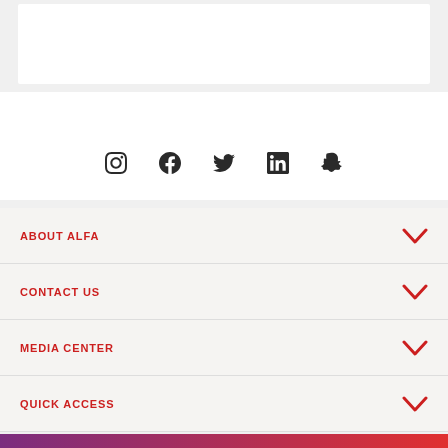[Figure (other): White content box at top of page on grey background]
[Figure (other): Social media icons row: Instagram, Facebook, Twitter, LinkedIn, Snapchat]
ABOUT ALFA
CONTACT US
MEDIA CENTER
QUICK ACCESS
[Figure (other): Bottom gradient bar from purple to red]